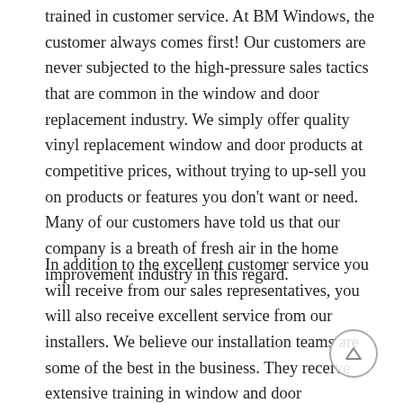trained in customer service. At BM Windows, the customer always comes first! Our customers are never subjected to the high-pressure sales tactics that are common in the window and door replacement industry. We simply offer quality vinyl replacement window and door products at competitive prices, without trying to up-sell you on products or features you don't want or need. Many of our customers have told us that our company is a breath of fresh air in the home improvement industry in this regard.
In addition to the excellent customer service you will receive from our sales representatives, you will also receive excellent service from our installers. We believe our installation teams are some of the best in the business. They receive extensive training in window and door installation, including factory training, and they know how to do the job right. They work efficiently, often finishing